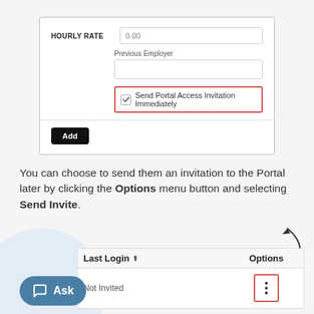[Figure (screenshot): Form section showing HOURLY RATE field with value 0.00, a Previous Employer text field, a checked checkbox labeled 'Send Portal Access Invitation Immediately' highlighted with a red border, and an Add button.]
You can choose to send them an invitation to the Portal later by clicking the Options menu button and selecting Send Invite.
[Figure (screenshot): Table screenshot with Last Login and Options columns. A row shows 'Not Invited' under Last Login and a three-dot options button highlighted with a red border under Options. A curved arrow points to the options button area. A blue chat bubble 'Ask' button is in the bottom-left corner.]